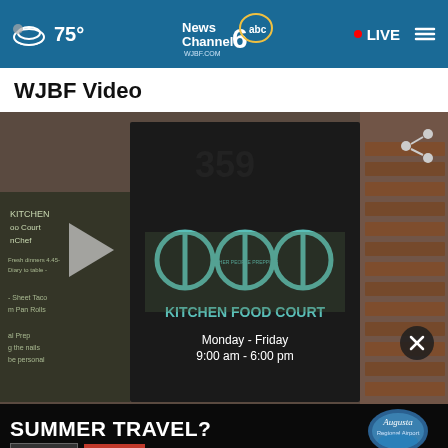75° News Channel 6 abc WJBF.COM | LIVE
WJBF Video
[Figure (screenshot): Video thumbnail showing a storefront door with the number 359, an 'Other People Prepping Kitchen Food Court' logo, hours Monday-Friday 9:00 am - 6:00 pm, a play button overlay, share icon, and close button. Left side shows a chalkboard sign with 'Kitchen Food Court' text.]
[Figure (screenshot): Advertisement banner for Augusta Regional Airport: 'SUMMER TRAVEL? FLY THERE FLY HOME' with FLYAGS.com and Augusta Regional Airport logo]